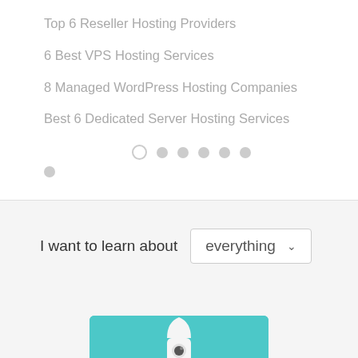Top 6 Reseller Hosting Providers
6 Best VPS Hosting Services
8 Managed WordPress Hosting Companies
Best 6 Dedicated Server Hosting Services
I want to learn about everything
[Figure (illustration): Rocket ship illustration on teal/turquoise background]